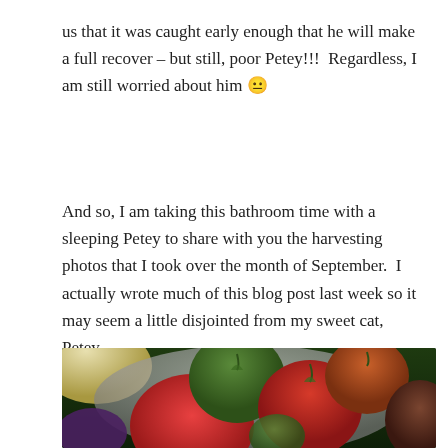us that it was caught early enough that he will make a full recover – but still, poor Petey!!!  Regardless, I am still worried about him 😐
And so, I am taking this bathroom time with a sleeping Petey to share with you the harvesting photos that I took over the month of September.  I actually wrote much of this blog post last week so it may seem a little disjointed from my sweet cat, Petey.
[Figure (photo): A metal colander or bowl filled with a variety of harvested heirloom tomatoes in red, orange, green, and dark brown/purple colors, sitting on green grass, with a yellow squash or melon visible in the upper left corner and a purple eggplant on the lower left.]